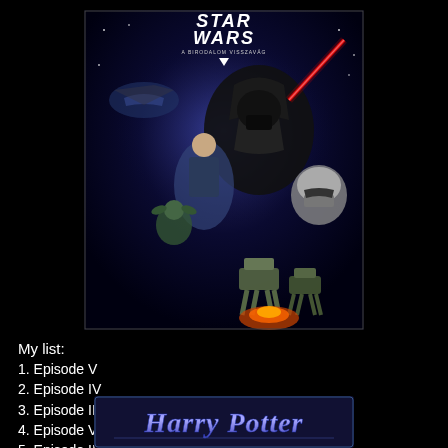[Figure (photo): Star Wars: The Empire Strikes Back movie poster (Hungarian title: A Birodalom Visszavág) showing Darth Vader, Luke Skywalker, Yoda, and AT-AT walkers with a red lightsaber against a blue/purple space background]
My list:
1. Episode V
2. Episode IV
3. Episode III
4. Episode VI
5. Episode II
6. Episode I
[Figure (photo): Harry Potter logo/banner in blue metallic stylized font at the bottom of the page]